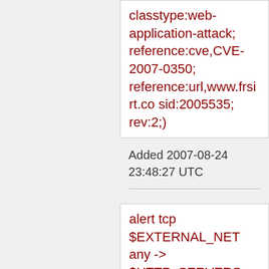classtype:web-application-attack; reference:cve,CVE-2007-0350; reference:url,www.frsirt.co sid:2005535; rev:2;)
Added 2007-08-24 23:48:27 UTC
alert tcp $EXTERNAL_NET any -> $HTTP_SERVERS $HTTP_PORTS (msg:"BLEEDING-EDGE WEB SmE? FileMailer? SQL Injection Attempt --